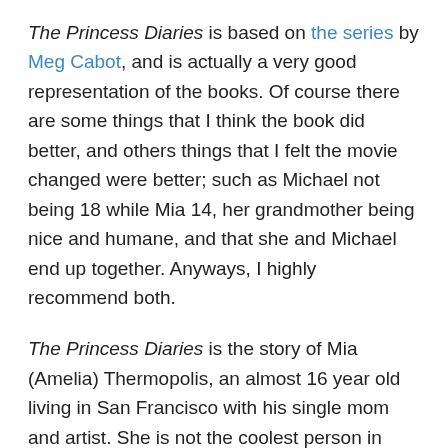The Princess Diaries is based on the series by Meg Cabot, and is actually a very good representation of the books. Of course there are some things that I think the book did better, and others things that I felt the movie changed were better; such as Michael not being 18 while Mia 14, her grandmother being nice and humane, and that she and Michael end up together. Anyways, I highly recommend both.
The Princess Diaries is the story of Mia (Amelia) Thermopolis, an almost 16 year old living in San Francisco with his single mom and artist. She is not the coolest person in school, and is invisible to many, especially to her crush Josh. Mia's only friends are the equally unpopular Lily, and Lily's brother Michael, who unbeknownst to Mia has a crush on her. Her grandmother,